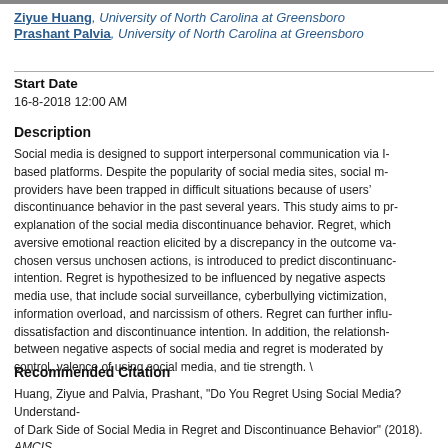Ziyue Huang, University of North Carolina at Greensboro
Prashant Palvia, University of North Carolina at Greensboro
Start Date
16-8-2018 12:00 AM
Description
Social media is designed to support interpersonal communication via I- based platforms. Despite the popularity of social media sites, social m- providers have been trapped in difficult situations because of users’ discontinuance behavior in the past several years. This study aims to pr- explanation of the social media discontinuance behavior. Regret, which aversive emotional reaction elicited by a discrepancy in the outcome va- chosen versus unchosen actions, is introduced to predict discontinuanc- intention. Regret is hypothesized to be influenced by negative aspects media use, that include social surveillance, cyberbullying victimization, information overload, and narcissism of others. Regret can further infl- dissatisfaction and discontinuance intention. In addition, the relationsh- between negative aspects of social media and regret is moderated by control, valence of using social media, and tie strength. \
Recommended Citation
Huang, Ziyue and Palvia, Prashant, "Do You Regret Using Social Media? Understand- of Dark Side of Social Media in Regret and Discontinuance Behavior" (2018). AMCIS